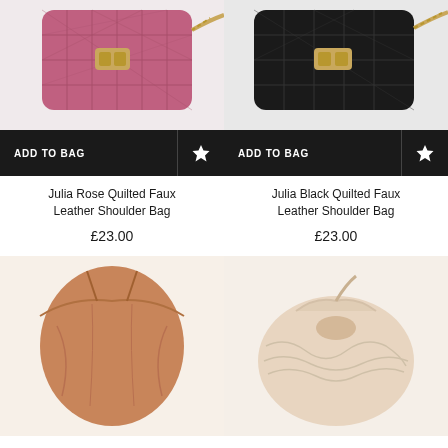[Figure (photo): Rose/pink quilted faux leather shoulder bag with gold chain strap and gold clasp, partially cropped at top]
[Figure (photo): Black quilted faux leather shoulder bag with gold chain strap and gold clasp, partially cropped at top]
ADD TO BAG (Rose bag)
ADD TO BAG (Black bag)
Julia Rose Quilted Faux Leather Shoulder Bag
Julia Black Quilted Faux Leather Shoulder Bag
£23.00
£23.00
[Figure (photo): Tan/brown faux leather drawstring bucket bag, partially cropped at bottom]
[Figure (photo): Cream/beige faux leather ruched/gathered bag, partially cropped at bottom]